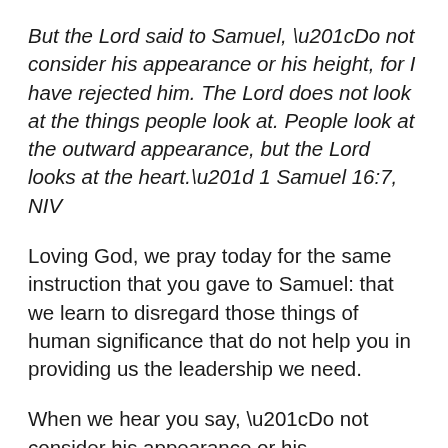But the Lord said to Samuel, “Do not consider his appearance or his height, for I have rejected him. The Lord does not look at the things people look at. People look at the outward appearance, but the Lord looks at the heart.” 1 Samuel 16:7, NIV
Loving God, we pray today for the same instruction that you gave to Samuel: that we learn to disregard those things of human significance that do not help you in providing us the leadership we need.
When we hear you say, “Do not consider his appearance or his height,” we hear in these words, shaped by a much earlier time, that